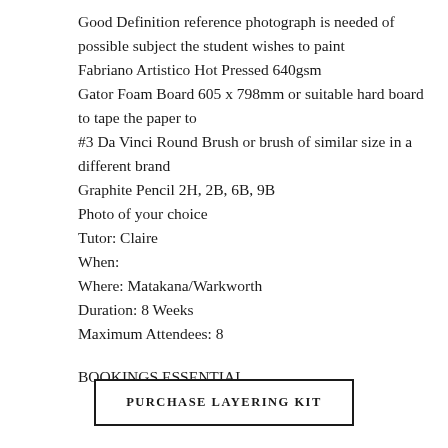Good Definition reference photograph is needed of possible subject the student wishes to paint
Fabriano Artistico Hot Pressed 640gsm
Gator Foam Board 605 x 798mm or suitable hard board to tape the paper to
#3 Da Vinci Round Brush or brush of similar size in a different brand
Graphite Pencil 2H, 2B, 6B, 9B
Photo of your choice
Tutor: Claire
When:
Where: Matakana/Warkworth
Duration: 8 Weeks
Maximum Attendees: 8
BOOKINGS ESSENTIAL
PURCHASE LAYERING KIT